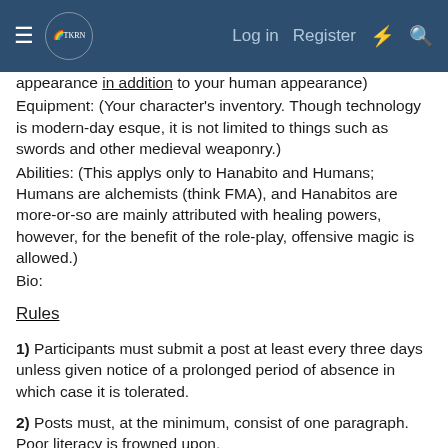Log in  Register
appearance in addition to your human appearance)
Equipment: (Your character's inventory. Though technology is modern-day esque, it is not limited to things such as swords and other medieval weaponry.)
Abilities: (This applys only to Hanabito and Humans; Humans are alchemists (think FMA), and Hanabitos are more-or-so are mainly attributed with healing powers, however, for the benefit of the role-play, offensive magic is allowed.)
Bio:
Rules
1) Participants must submit a post at least every three days unless given notice of a prolonged period of absence in which case it is tolerated.
2) Posts must, at the minimum, consist of one paragraph. Poor literacy is frowned upon.